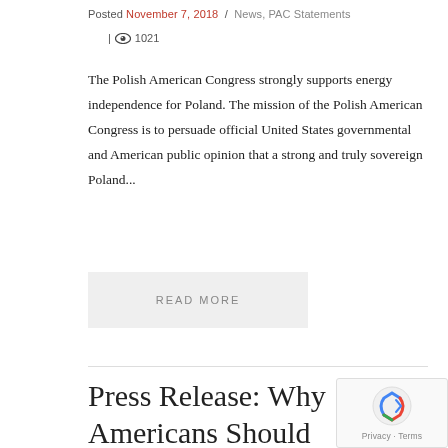Posted November 7, 2018 / News, PAC Statements | 1021
The Polish American Congress strongly supports energy independence for Poland. The mission of the Polish American Congress is to persuade official United States governmental and American public opinion that a strong and truly sovereign Poland...
READ MORE
Press Release: Why Americans Should